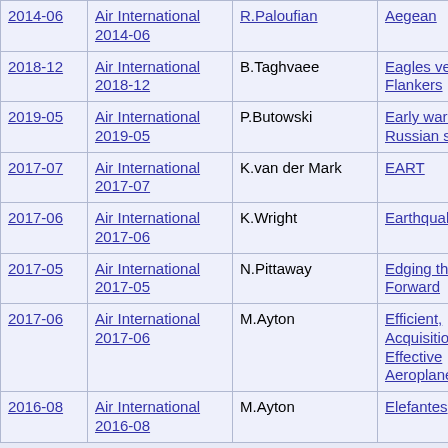| Date | Publication | Author | Title | Category |
| --- | --- | --- | --- | --- |
| 2014-06 | Air International 2014-06 | R.Paloufian | Aegean | Military |
| 2018-12 | Air International 2018-12 | B.Taghvaee | Eagles versus Flankers | Military |
| 2019-05 | Air International 2019-05 | P.Butowski | Early warning, Russian style | Military |
| 2017-07 | Air International 2017-07 | K.van der Mark | EART | Military |
| 2017-06 | Air International 2017-06 | K.Wright | Earthquake | Military |
| 2017-05 | Air International 2017-05 | N.Pittaway | Edging the Atlas Forward | Military |
| 2017-06 | Air International 2017-06 | M.Ayton | Efficient, Acquisition, Effective Aeroplane | Military |
| 2016-08 | Air International 2016-08 | M.Ayton | Elefantes | Military |